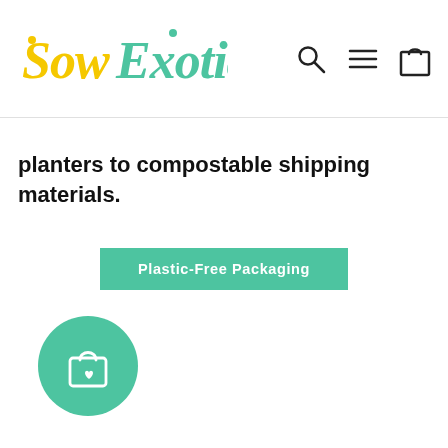[Figure (logo): Sow Exotic logo — stylized text with yellow 'Sow' and teal 'Exotic' lettering]
[Figure (other): Navigation icons: search magnifier, hamburger menu, shopping bag — top right of header]
planters to compostable shipping materials.
Plastic-Free Packaging
[Figure (other): Teal circular floating button with a shopping bag and heart icon]